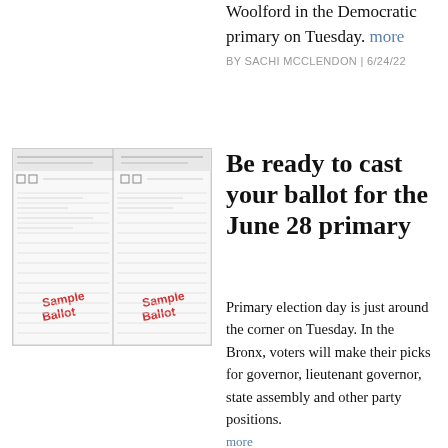Woolford in the Democratic primary on Tuesday. more
BY SACHI MCCLENDON | 6/24/22
[Figure (photo): Sample ballot document showing two panels labeled 'Sample Ballot' in red text]
Be ready to cast your ballot for the June 28 primary
Primary election day is just around the corner on Tuesday. In the Bronx, voters will make their picks for governor, lieutenant governor, state assembly and other party positions.
more